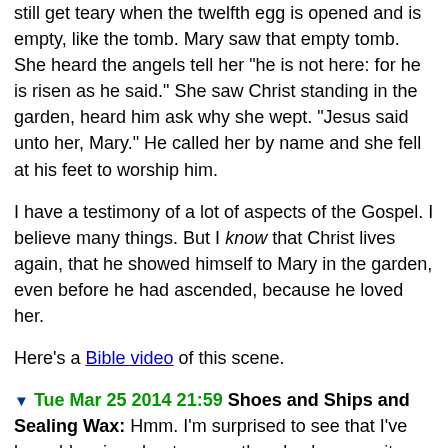still get teary when the twelfth egg is opened and is empty, like the tomb. Mary saw that empty tomb. She heard the angels tell her "he is not here: for he is risen as he said." She saw Christ standing in the garden, heard him ask why she wept. "Jesus said unto her, Mary." He called her by name and she fell at his feet to worship him.
I have a testimony of a lot of aspects of the Gospel. I believe many things. But I know that Christ lives again, that he showed himself to Mary in the garden, even before he had ascended, because he loved her.
Here's a Bible video of this scene.
Tue Mar 25 2014 21:59 Shoes and Ships and Sealing Wax:
Hmm. I'm surprised to see that I've been blogging about every other day because it feels like I haven't been doing it much at all.
I love friends. I went out with a bunch of ladies last night. We were saying goodbye to one friend who is moving, so it wasn't technically a happy occasion, but I'm from a family that throws parties instead of funerals, and girls are fun, so fun we had.